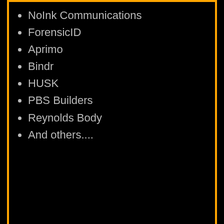NoInk Communications
ForensicID
Aprimo
Bindr
HUSK
PBS Builders
Reynolds Body
And others....
STRATEGIC MANAGEMENT KEYNOTE SPEAKING ADDRESS OR EXECUTIVE TEAM OFFSITE:
THE EASE (E'S) OF TRANSFORMING BUSINESS PERFORMANCE
Five Keys to Put Your Business in Overdrive!